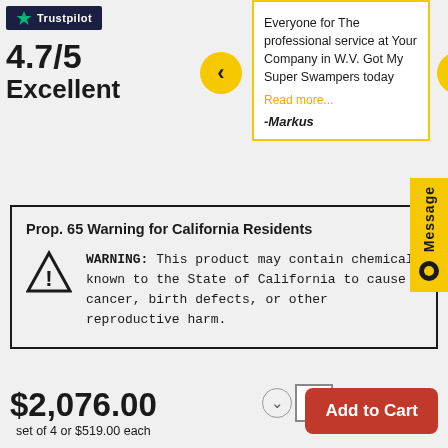[Figure (logo): Trustpilot logo with star on dark navy background]
4.7/5
Excellent
Everyone for The professional service at Your Company in W.V. Got My Super Swampers today
Read more...
-Markus
Message
Prop. 65 Warning for California Residents
WARNING: This product may contain chemicals known to the State of California to cause cancer, birth defects, or other reproductive harm.
$2,076.00
set of 4 or $519.00 each